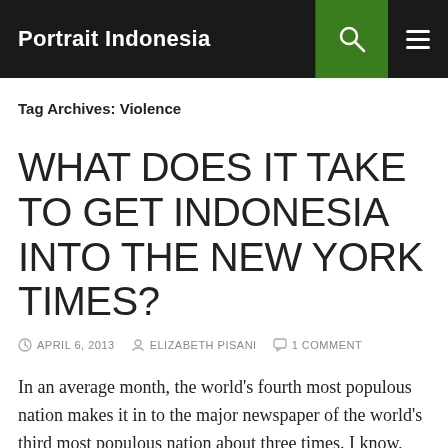Portrait Indonesia
Tag Archives: Violence
WHAT DOES IT TAKE TO GET INDONESIA INTO THE NEW YORK TIMES?
APRIL 6, 2013  ELIZABETH PISANI  1 COMMENT
In an average month, the world's fourth most populous nation makes it in to the major newspaper of the world's third most populous nation about three times. I know, because the New York Times has a very handy service that allows you to set up